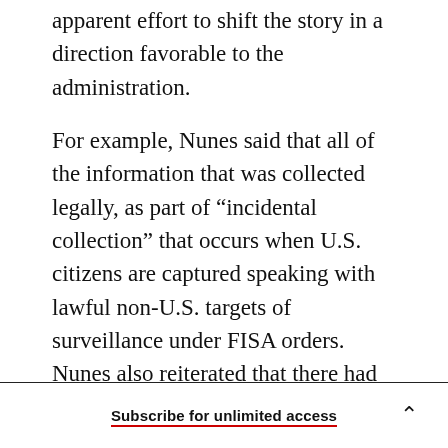apparent effort to shift the story in a direction favorable to the administration.
For example, Nunes said that all of the information that was collected legally, as part of “incidental collection” that occurs when U.S. citizens are captured speaking with lawful non-U.S. targets of surveillance under FISA orders. Nunes also reiterated that there had been no “wiretap” on Trump Tower, as the president has alleged and continued to assert, despite disavowals by top Republicans in Congress and the intelligence community.
Subscribe for unlimited access